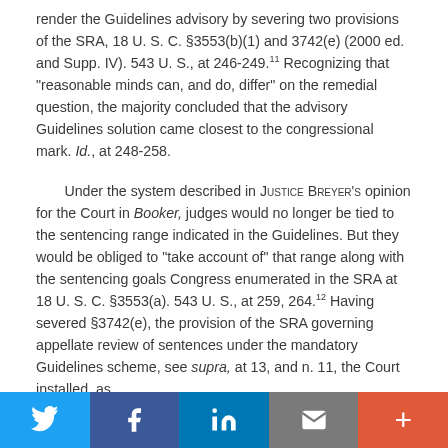render the Guidelines advisory by severing two provisions of the SRA, 18 U. S. C. §3553(b)(1) and 3742(e) (2000 ed. and Supp. IV). 543 U. S., at 246-249.11 Recognizing that "reasonable minds can, and do, differ" on the remedial question, the majority concluded that the advisory Guidelines solution came closest to the congressional mark. Id., at 248-258.
Under the system described in Justice Breyer's opinion for the Court in Booker, judges would no longer be tied to the sentencing range indicated in the Guidelines. But they would be obliged to "take account of" that range along with the sentencing goals Congress enumerated in the SRA at 18 U. S. C. §3553(a). 543 U. S., at 259, 264.12 Having severed §3742(e), the provision of the SRA governing appellate review of sentences under the mandatory Guidelines scheme, see supra, at 13, and n. 11, the Court installed, as
Social share bar: Twitter, Facebook, LinkedIn, Email, More